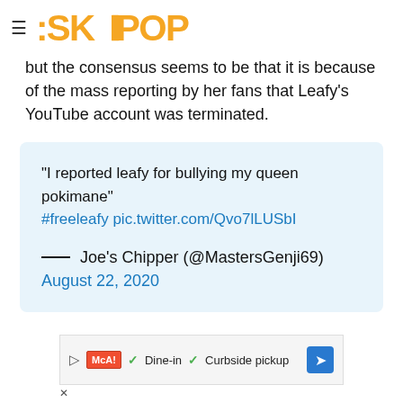SKPOP
but the consensus seems to be that it is because of the mass reporting by her fans that Leafy's YouTube account was terminated.
"I reported leafy for bullying my queen pokimane" #freeleafy pic.twitter.com/Qvo7lLUSbI

— Joe's Chipper (@MastersGenji69) August 22, 2020
[Figure (screenshot): Advertisement banner showing McAlister's Deli with Dine-in and Curbside pickup options]